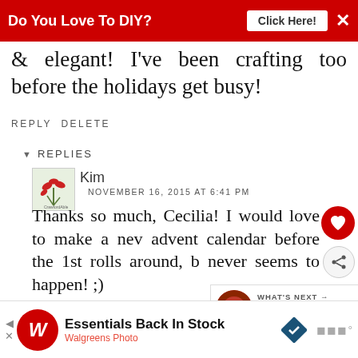[Figure (screenshot): Red advertisement banner at top: 'Do You Love To DIY? Click Here!' with X close button]
& elegant! I've been crafting too before the holidays get busy!
REPLY DELETE
▾ REPLIES
Kim
NOVEMBER 16, 2015 AT 6:41 PM
Thanks so much, Cecilia! I would love to make a new advent calendar before the 1st rolls around, but it never seems to happen! ;)
[Figure (screenshot): WHAT'S NEXT arrow with Christmas Home Decor thumbnail]
[Figure (screenshot): Walgreens Photo advertisement: Essentials Back In Stock]